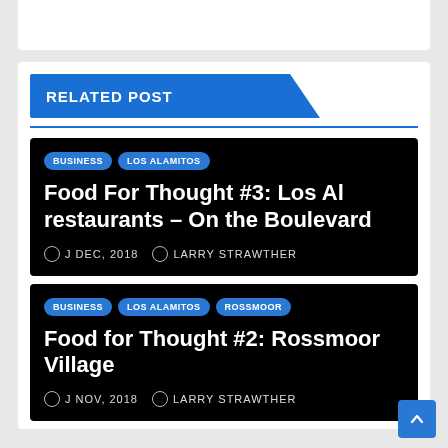RELATED POST
Food For Thought #3: Los Al restaurants – On the Boulevard
BUSINESS  LOS ALAMITOS  •  J DEC, 2018  LARRY STRAWTHER
Food for Thought #2: Rossmoor Village
BUSINESS  LOS ALAMITOS  ROSSMOOR  •  J NOV, 2018  LARRY STRAWTHER